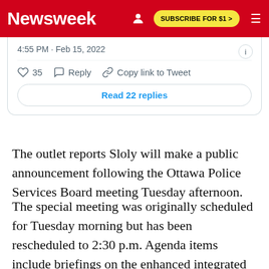Newsweek  SUBSCRIBE FOR $1 >
[Figure (screenshot): Partial Twitter/X embed showing tweet timestamp 4:55 PM · Feb 15, 2022, with like count 35, Reply, Copy link to Tweet actions, and a 'Read 22 replies' button]
The outlet reports Sloly will make a public announcement following the Ottawa Police Services Board meeting Tuesday afternoon.
The special meeting was originally scheduled for Tuesday morning but has been rescheduled to 2:30 p.m. Agenda items include briefings on the enhanced integrated